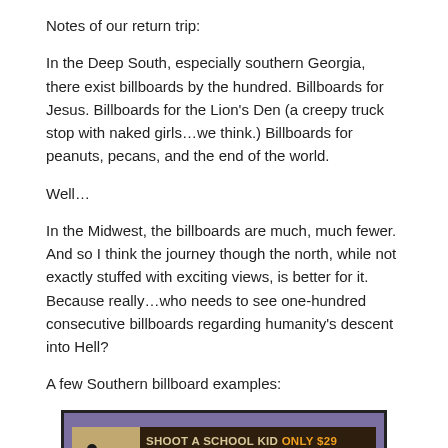Notes of our return trip:
In the Deep South, especially southern Georgia, there exist billboards by the hundred. Billboards for Jesus. Billboards for the Lion’s Den (a creepy truck stop with naked girls…we think.) Billboards for peanuts, pecans, and the end of the world.
Well…
In the Midwest, the billboards are much, much fewer. And so I think the journey though the north, while not exactly stuffed with exciting views, is better for it. Because really…who needs to see one-hundred consecutive billboards regarding humanity's descent into Hell?
A few Southern billboard examples:
[Figure (photo): Photo of a billboard advertisement reading 'SHOOT A SCHOOL KID ONLY $29' with 'BATTLEFIELD VEGAS' logo, showing a rifle and silhouette figures, set against a purple/mauve background.]